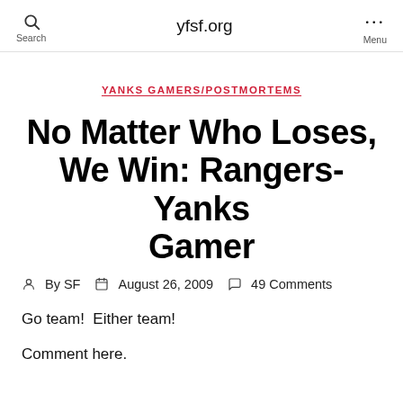yfsf.org
YANKS GAMERS/POSTMORTEMS
No Matter Who Loses, We Win: Rangers-Yanks Gamer
By SF  August 26, 2009  49 Comments
Go team!  Either team!
Comment here.